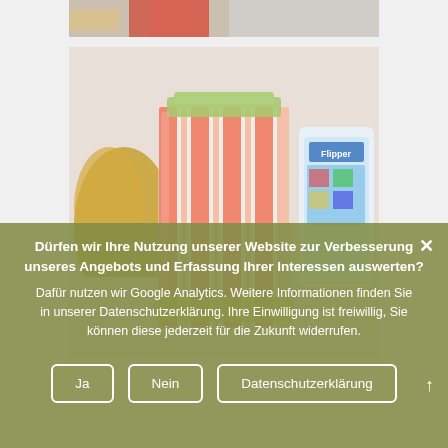[Figure (photo): Partial view of fabric or folded red/orange textile at the top]
[Figure (photo): Close-up photo of a glass jar wrapped in orange/pink striped plastic packaging, with colorful product packaging (Flipper) visible in the background on a white surface]
Dürfen wir Ihre Nutzung unserer Website zur Verbesserung unseres Angebots und Erfassung Ihrer Interessen auswerten?
Dafür nutzen wir Google Analytics. Weitere Informationen finden Sie in unserer Datenschutzerklärung. Ihre Einwilligung ist freiwillig, Sie können diese jederzeit für die Zukunft widerrufen.
Ja
Nein
Datenschutzerklärung